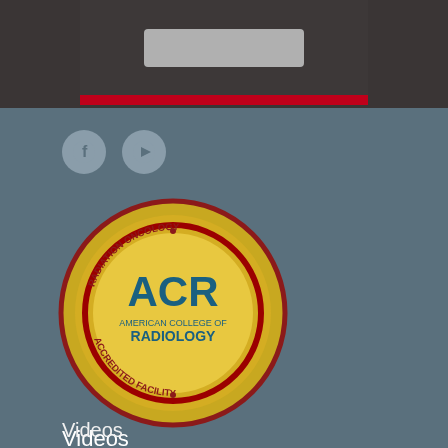[Figure (screenshot): Dark gray top bar with a lighter inner panel and a red stripe at the bottom, containing a gray rounded button]
[Figure (logo): ACR American College of Radiology - Radiation Oncology Accredited Facility gold seal badge]
[Figure (illustration): Social media icons: circular Facebook icon and YouTube play button icon on slate-blue background]
Videos
Non-Discrimination Policy
Privacy Policy & Terms of Use
Map & Directions
Contact Us